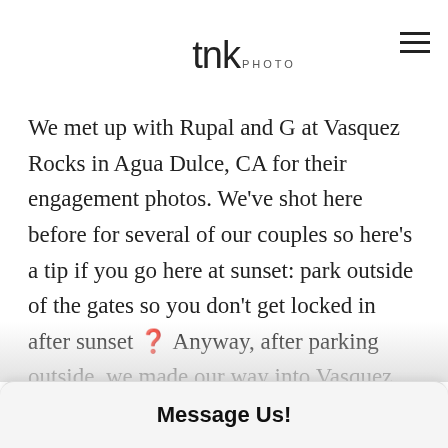tnk PHOTO
We met up with Rupal and G at Vasquez Rocks in Agua Dulce, CA for their engagement photos. We've shot here before for several of our couples so here's a tip if you go here at sunset: park outside of the gates so you don't get locked in after sunset 😂 Anyway, after parking outside, we made our way into Vasquez Rocks. The beautiful thing about this place is that the terrain really does change quite a bit. Some areas are a little more full, others more bare, but the main attraction for us was the big rock at the end of the dirt road. Our session actually started there like it always…know going up to the top and getting some of those
Message Us!